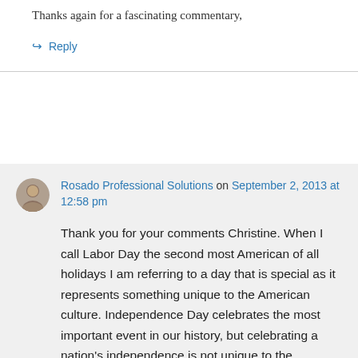Thanks again for a fascinating commentary,
↪ Reply
Rosado Professional Solutions on September 2, 2013 at 12:58 pm
Thank you for your comments Christine. When I call Labor Day the second most American of all holidays I am referring to a day that is special as it represents something unique to the American culture. Independence Day celebrates the most important event in our history, but celebrating a nation's independence is not unique to the American people or culture. Many countries celebrate their